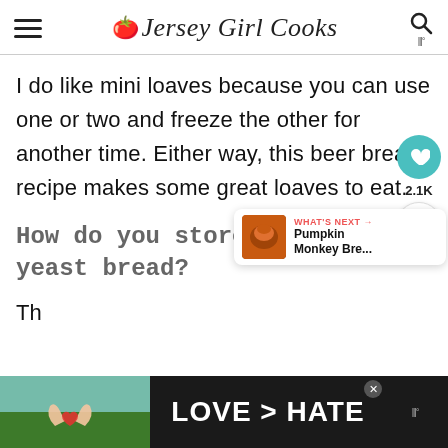Jersey Girl Cooks
I do like mini loaves because you can use one or two and freeze the other for another time. Either way, this beer bread recipe makes some great loaves to eat.
How do you store this no yeast bread?
This beer bread recipe will s...
[Figure (screenshot): What's Next panel showing Pumpkin Monkey Bre... thumbnail]
[Figure (photo): Bottom ad banner with hands making heart shape and text LOVE > HATE]